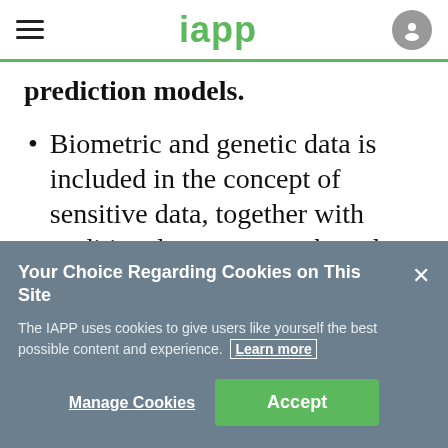iapp
prediction models.
Biometric and genetic data is included in the concept of sensitive data, together with traditional concepts such as data
Your Choice Regarding Cookies on This Site
The IAPP uses cookies to give users like yourself the best possible content and experience. Learn more
Manage Cookies   Accept